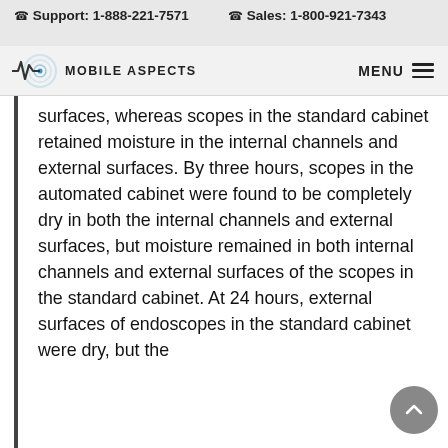Support: 1-888-221-7571   Sales: 1-800-921-7343
[Figure (logo): Mobile Aspects logo with stylized waveform and circular signal graphic, brand name MOBILE ASPECTS, and MENU hamburger icon]
surfaces, whereas scopes in the standard cabinet retained moisture in the internal channels and external surfaces. By three hours, scopes in the automated cabinet were found to be completely dry in both the internal channels and external surfaces, but moisture remained in both internal channels and external surfaces of the scopes in the standard cabinet. At 24 hours, external surfaces of endoscopes in the standard cabinet were dry, but the